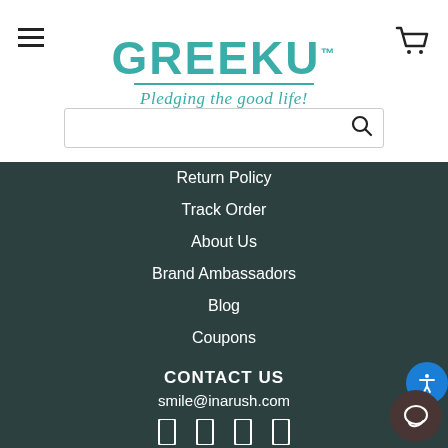[Figure (logo): GreekU logo with teal text and tagline 'Pledging the good life!']
Return Policy
Track Order
About Us
Brand Ambassadors
Blog
Coupons
CONTACT US
smile@inarush.com
© 2022, GreekU. All Rights Reserved.